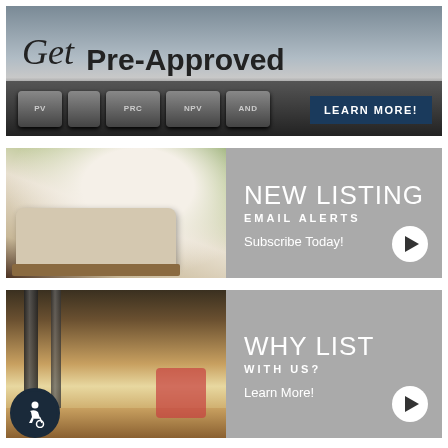[Figure (illustration): Banner advertisement showing a calculator keyboard background with the text 'Get Pre-Approved' and a 'LEARN MORE!' button on dark blue background]
[Figure (illustration): Banner with a living room interior photo on the left and 'NEW LISTING EMAIL ALERTS — Subscribe Today!' text with a play button on a gray background]
[Figure (illustration): Banner with a porch/exterior home photo on the left and 'WHY LIST WITH US? — Learn More!' text with a play button on a gray background. Accessibility icon in lower left corner.]